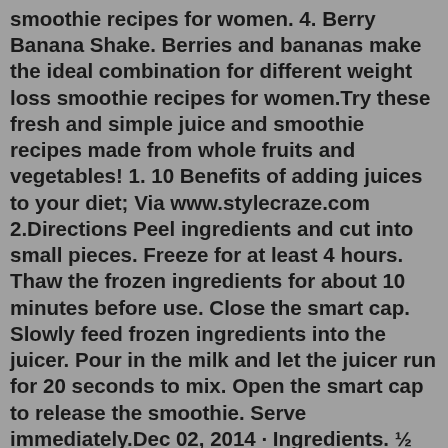smoothie recipes for women. 4. Berry Banana Shake. Berries and bananas make the ideal combination for different weight loss smoothie recipes for women.Try these fresh and simple juice and smoothie recipes made from whole fruits and vegetables! 1. 10 Benefits of adding juices to your diet; Via www.stylecraze.com 2.Directions Peel ingredients and cut into small pieces. Freeze for at least 4 hours. Thaw the frozen ingredients for about 10 minutes before use. Close the smart cap. Slowly feed frozen ingredients into the juicer. Pour in the milk and let the juicer run for 20 seconds to mix. Open the smart cap to release the smoothie. Serve immediately.Dec 02, 2014 · Ingredients. ½ medium carrot, diced. ½ medium banana, sliced. ½ medium orange, cut into segments. coconut water to max line. Method. Place the carrot, banana, orange, and coconut water in the tall glass. Process in the NutriBullet for 10-12 seconds or until mixture becomes smooth. Pour in a serving glass. For Berry Blast Smoothie Without Banana: 1 1/2 cups frozen mixed berries. 2 pitted Medjool dates. 1 cup